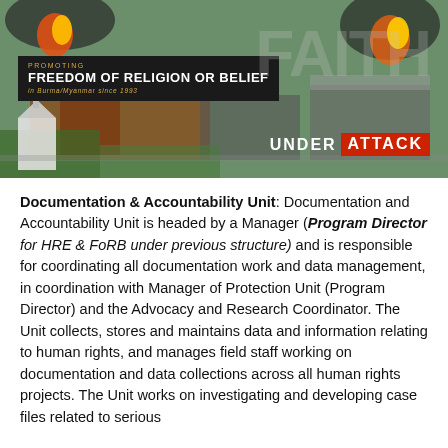[Figure (photo): Aerial photo of buildings on fire with smoke, overlaid with text 'PROMOTING FREEDOM OF RELIGION OR BELIEF in Burma/Myanmar since 1993' in a black box, and large text 'FAITH UNDER ATTACK' on the right side with a red box around 'ATTACK'.]
Documentation & Accountability Unit: Documentation and Accountability Unit is headed by a Manager (Program Director for HRE & FoRB under previous structure) and is responsible for coordinating all documentation work and data management, in coordination with Manager of Protection Unit (Program Director) and the Advocacy and Research Coordinator. The Unit collects, stores and maintains data and information relating to human rights, and manages field staff working on documentation and data collections across all human rights projects. The Unit works on investigating and developing case files related to serious...